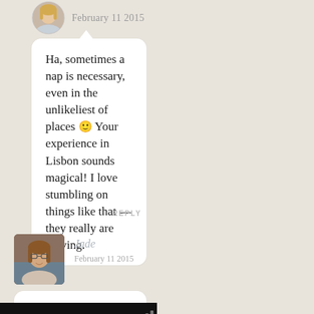February 11 2015
Ha, sometimes a nap is necessary, even in the unlikeliest of places 🙂 Your experience in Lisbon sounds magical! I love stumbling on things like that — they really are moving.
REPLY
[Figure (photo): Avatar photo of a young woman with glasses, smiling]
Jade
February 11 2015
I'm not sure what to even write here to express how incredible your words and photos are but I
[Figure (other): Advertisement bar overlay at bottom with blue ad badge, X close button, and MOAT logo with signal bars]